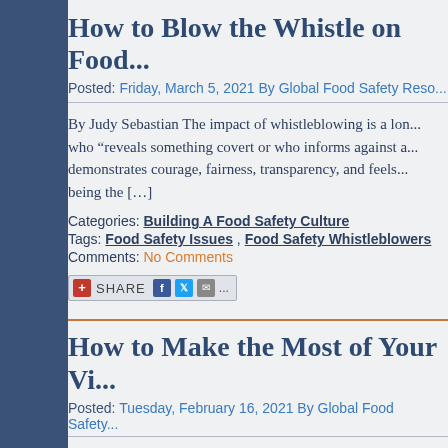How to Blow the Whistle on Food...
Posted: Friday, March 5, 2021 By Global Food Safety Reso...
By Judy Sebastian The impact of whistleblowing is a lon... who “reveals something covert or who informs against a... demonstrates courage, fairness, transparency, and feels... being the […]
Categories: Building A Food Safety Culture
Tags: Food Safety Issues , Food Safety Whistleblowers
Comments: No Comments
[Figure (other): Share button with social media icons: Facebook, Twitter, Email and more (...)]
How to Make the Most of Your Vi...
Posted: Tuesday, February 16, 2021 By Global Food Safety...
...the will... ...one of ...